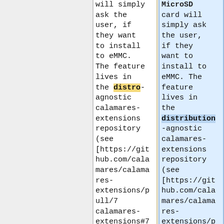| Old | New |
| --- | --- |
| will simply ask the user, if they want to install to eMMC. The feature lives in the distro-agnostic calamares-extensions repository (see [https://github.com/calamares/calamares-extensions/pull/7 calamares-extensions#7 | MicroSD card will simply ask the user, if they want to install to eMMC. The feature lives in the distribution-agnostic calamares-extensions repository (see [https://github.com/calamares/calamares-extensions/p |